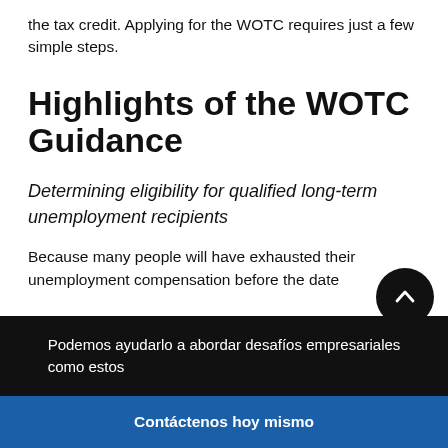the tax credit. Applying for the WOTC requires just a few simple steps.
Highlights of the WOTC Guidance
Determining eligibility for qualified long-term unemployment recipients
Because many people will have exhausted their unemployment compensation before the date
Podemos ayudarlo a abordar desafíos empresariales como estos
Contáctenos hoy mismo